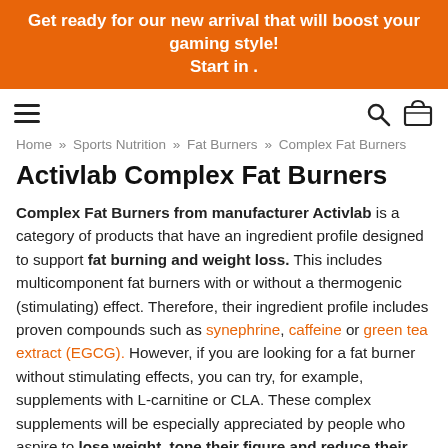Get ready for our new arrival that will boost your gaming style! Start in .
Home » Sports Nutrition » Fat Burners » Complex Fat Burners
Activlab Complex Fat Burners
Complex Fat Burners from manufacturer Activlab is a category of products that have an ingredient profile designed to support fat burning and weight loss. This includes multicomponent fat burners with or without a thermogenic (stimulating) effect. Therefore, their ingredient profile includes proven compounds such as synephrine, caffeine or green tea extract (EGCG). However, if you are looking for a fat burner without stimulating effects, you can try, for example, supplements with L-carnitine or CLA. These complex supplements will be especially appreciated by people who aspire to lose weight, tone their figure and reduce their caloric intake.